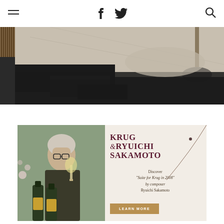Navigation bar with hamburger menu, Facebook and Twitter social icons, and search icon
[Figure (photo): Overhead/angled view of a minimalist courtyard with dark stone/concrete bench blocks, gravel, and a tree, shot from above]
[Figure (advertisement): Krug & Ryuichi Sakamoto champagne advertisement on cream background. Left side shows man with silver hair and glasses holding a wine glass alongside champagne bottles. Right side has text: KRUG & RYUICHI SAKAMOTO, Discover 'Suite for Krug in 2008' by composer Ryuichi Sakamoto, with LEARN MORE button.]